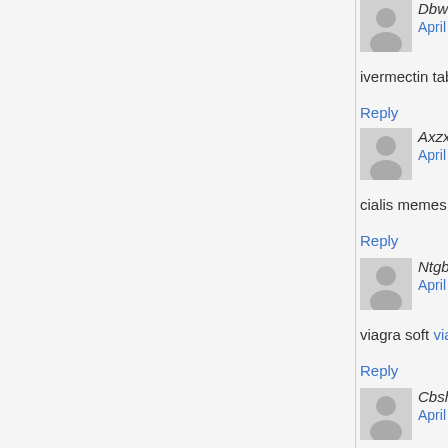DbwiNeick says: April 3, 2022 at 10:25 am
ivermectin tablet 1mg ivermectin 250ml
Reply
Axzxmikeabilm says: April 4, 2022 at 3:02 am
cialis memes cialis precio
Reply
NtgbNeick says: April 4, 2022 at 9:26 am
viagra soft viagra pills
Reply
CbshBOYMN says: April 4, 2022 at 7:23 pm
buy ivermectin stromectol stromectol canada